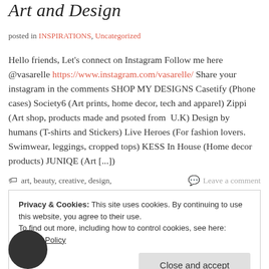Art and Design
posted in INSPIRATIONS, Uncategorized
Hello friends, Let's connect on Instagram Follow me here @vasarelle https://www.instagram.com/vasarelle/ Share your instagram in the comments SHOP MY DESIGNS Casetify (Phone cases) Society6 (Art prints, home decor, tech and apparel) Zippi (Art shop, products made and psoted from U.K) Design by humans (T-shirts and Stickers) Live Heroes (For fashion lovers. Swimwear, leggings, cropped tops) KESS In House (Home decor products) JUNIQE (Art [...])
art, beauty, creative, design,   Leave a comment
Privacy & Cookies: This site uses cookies. By continuing to use this website, you agree to their use.
To find out more, including how to control cookies, see here: Cookie Policy
Close and accept